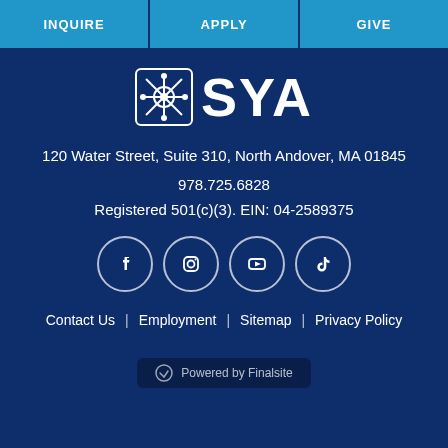INQUIRE | APPLY | GIVE
[Figure (logo): SYA logo with decorative snowflake/cross emblem and SYA text]
120 Water Street, Suite 310, North Andover, MA 01845
978.725.6828
Registered 501(c)(3). EIN: 04-2589375
[Figure (other): Social media icons: Facebook, Instagram, YouTube, TikTok in circular borders]
Contact Us  |  Employment  |  Sitemap  |  Privacy Policy
Powered by Finalsite